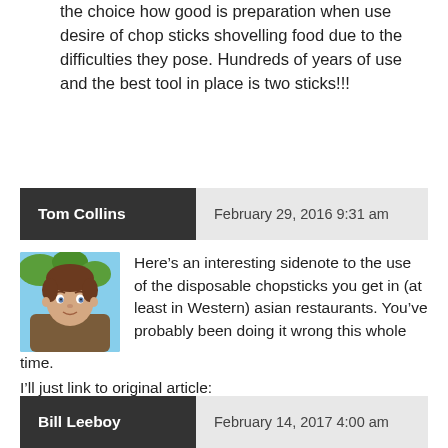the choice how good is preparation when use desire of chop sticks shovelling food due to the difficulties they pose. Hundreds of years of use and the best tool in place is two sticks!!!
Tom Collins   February 29, 2016 9:31 am
Here’s an interesting sidenote to the use of the disposable chopsticks you get in (at least in Western) asian restaurants. You’ve probably been doing it wrong this whole time.
I’ll just link to original article:
http://www.seventeen.com/life/food-recipes/news/a38132/youve-probably-been-using-chop-sticks-wrong-this-whole-time/
Bill Leeboy   February 14, 2017 4:00 am